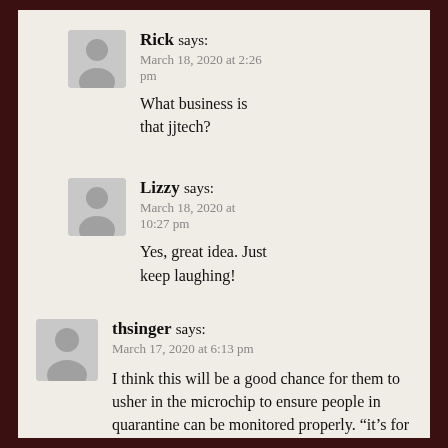Rick says:
March 18, 2020 at 2:26 pm

What business is that jjtech?
Lizzy says:
March 18, 2020 at 10:27 pm

Yes, great idea. Just keep laughing!
thsinger says:
March 17, 2020 at 6:13 pm

I think this will be a good chance for them to usher in the microchip to ensure people in quarantine can be monitored properly. “it’s for our